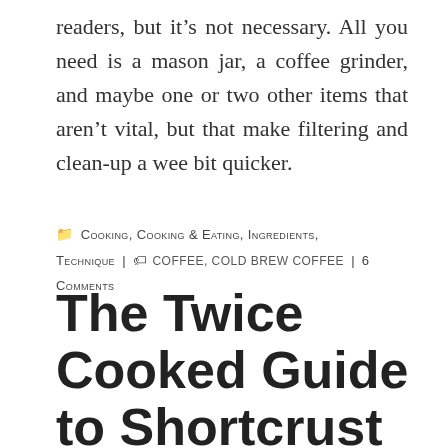readers, but it's not necessary. All you need is a mason jar, a coffee grinder, and maybe one or two other items that aren't vital, but that make filtering and clean-up a wee bit quicker.
🗂 Cooking, Cooking & Eating, Ingredients, Technique | 🏷 coffee, cold brew coffee | 6 Comments
The Twice Cooked Guide to Shortcrust Pastry